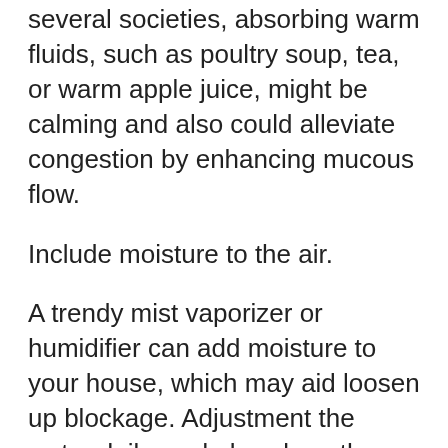several societies, absorbing warm fluids, such as poultry soup, tea, or warm apple juice, might be calming and also could alleviate congestion by enhancing mucous flow.
Include moisture to the air.
A trendy mist vaporizer or humidifier can add moisture to your house, which may aid loosen up blockage. Adjustment the water daily, and also clean the device according to the supplier's directions. Don't make use of steam, which hasn't been revealed to aid as well as might